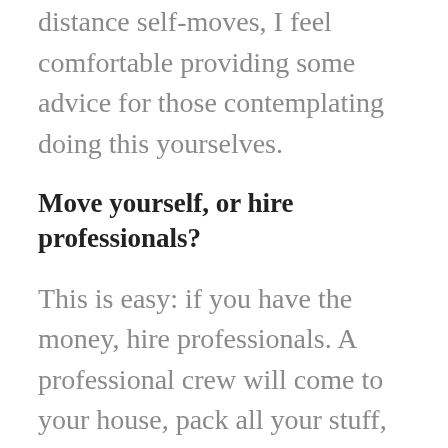distance self-moves, I feel comfortable providing some advice for those contemplating doing this yourselves.
Move yourself, or hire professionals?
This is easy: if you have the money, hire professionals. A professional crew will come to your house, pack all your stuff, load the truck, and drive it to your destination, where they will unload it and fill your new house with boxes. The movers will generally guarantee their work and replace damaged items. But this might cost five figures if you have a large house